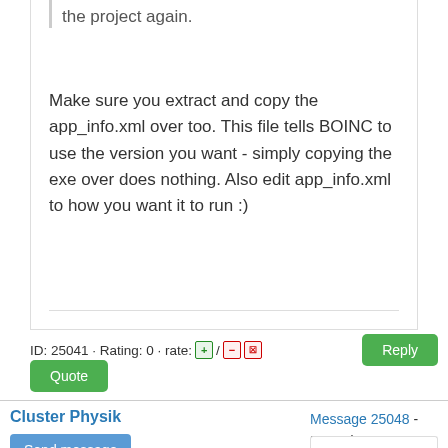the project again.
Make sure you extract and copy the app_info.xml over too. This file tells BOINC to use the version you want - simply copying the exe over does nothing. Also edit app_info.xml to how you want it to run :)
ID: 25041 · Rating: 0 · rate:
Cluster Physik
Send message
Joined: 26 Jul 08
Posts: 627
Message 25048 - Posted: 11 Jun 2009, 19:28:14 UTC - in response to Message 25019. Last modified: 11 Jun 2009, 19:34:43 UTC